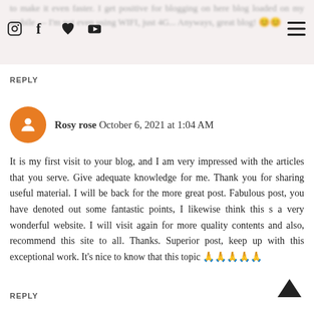blog loaded on my mobile — I'm not even using WIFI, just 4G... Anyways, great blog!
REPLY
Rosy rose October 6, 2021 at 1:04 AM
It is my first visit to your blog, and I am very impressed with the articles that you serve. Give adequate knowledge for me. Thank you for sharing useful material. I will be back for the more great post. Fabulous post, you have denoted out some fantastic points, I likewise think this s a very wonderful website. I will visit again for more quality contents and also, recommend this site to all. Thanks. Superior post, keep up with this exceptional work. It's nice to know that this topic 🙏🙏🙏🙏🙏
REPLY